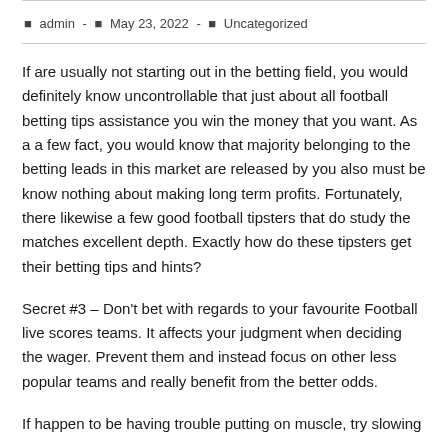admin  -  May 23, 2022  -  Uncategorized
If are usually not starting out in the betting field, you would definitely know uncontrollable that just about all football betting tips assistance you win the money that you want. As a a few fact, you would know that majority belonging to the betting leads in this market are released by you also must be know nothing about making long term profits. Fortunately, there likewise a few good football tipsters that do study the matches excellent depth. Exactly how do these tipsters get their betting tips and hints?
Secret #3 – Don't bet with regards to your favourite Football live scores teams. It affects your judgment when deciding the wager. Prevent them and instead focus on other less popular teams and really benefit from the better odds.
If happen to be having trouble putting on muscle, try slowing